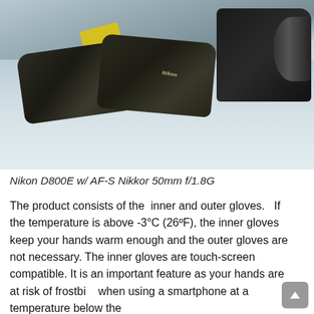[Figure (photo): Photograph of Nikon camera gloves (inner and outer) lying on snow, with a Nikon D800E camera with AF-S Nikkor 50mm lens visible. Yellow strap visible on left glove. Image taken with Nikon D800E w/ AF-S Nikkor 50mm f/1.8G.]
Nikon D800E w/ AF-S Nikkor 50mm f/1.8G
The product consists of the  inner and outer gloves.   If the temperature is above -3°C (26ºF), the inner gloves keep your hands warm enough and the outer gloves are not necessary. The inner gloves are touch-screen compatible. It is an important feature as your hands are at risk of frostbi when using a smartphone at a temperature below the